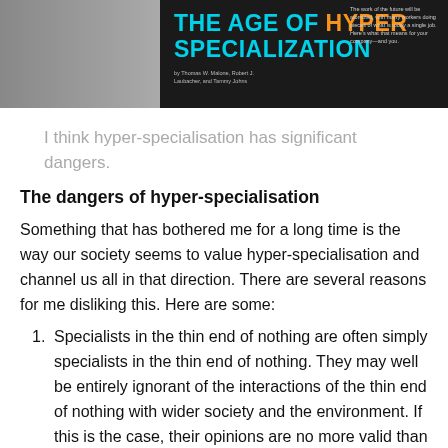[Figure (illustration): Banner image for article 'The Age of Hyper Specialization' with dark background, teal and orange title text, and a grey image section on the left with a small sidebar text on the right.]
I think hyper-specialisation has significant dangers.
The dangers of hyper-specialisation
Something that has bothered me for a long time is the way our society seems to value hyper-specialisation and channel us all in that direction. There are several reasons for me disliking this. Here are some:
Specialists in the thin end of nothing are often simply specialists in the thin end of nothing. They may well be entirely ignorant of the interactions of the thin end of nothing with wider society and the environment. If this is the case, their opinions are no more valid than